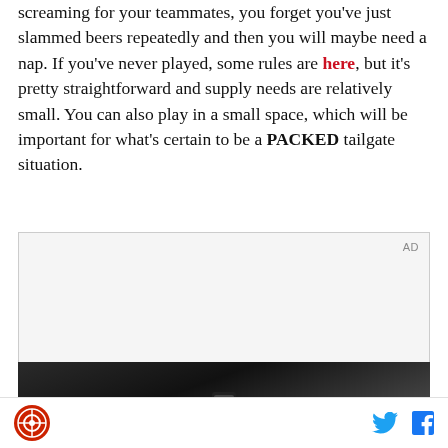because you're so caught up in the competition and screaming for your teammates, you forget you've just slammed beers repeatedly and then you will maybe need a nap. If you've never played, some rules are here, but it's pretty straightforward and supply needs are relatively small. You can also play in a small space, which will be important for what's certain to be a PACKED tailgate situation.
[Figure (other): Advertisement box with 'AD' label in gray]
[Figure (photo): Dark photo showing a hand holding a phone inside a vehicle]
Logo icon | Twitter icon | Facebook icon